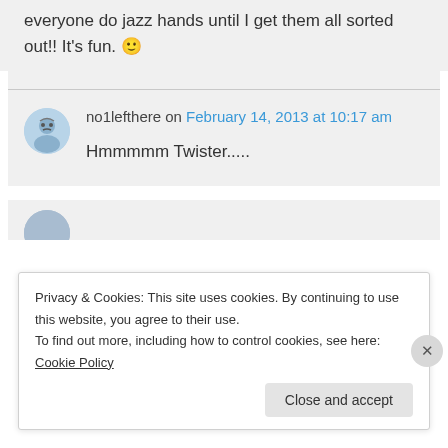everyone do jazz hands until I get them all sorted out!! It's fun. 🙂
no1lefthere on February 14, 2013 at 10:17 am
Hmmmmm Twister.....
Privacy & Cookies: This site uses cookies. By continuing to use this website, you agree to their use.
To find out more, including how to control cookies, see here: Cookie Policy
Close and accept